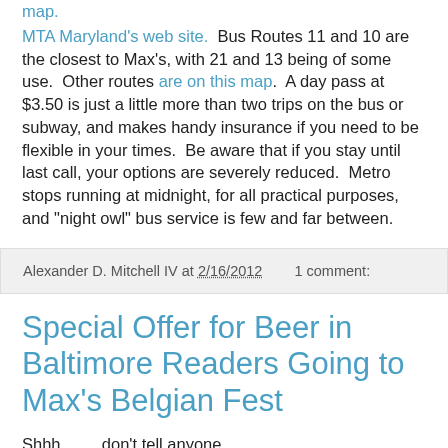map.
MTA Maryland's web site.  Bus Routes 11 and 10 are the closest to Max's, with 21 and 13 being of some use.  Other routes are on this map.  A day pass at $3.50 is just a little more than two trips on the bus or subway, and makes handy insurance if you need to be flexible in your times.  Be aware that if you stay until last call, your options are severely reduced.  Metro stops running at midnight, for all practical purposes, and "night owl" bus service is few and far between.
Alexander D. Mitchell IV at 2/16/2012    1 comment:
Special Offer for Beer in Baltimore Readers Going to Max's Belgian Fest
Shhh.......  don't tell anyone.....
But if you spot me at Max's Belgian Fest starting tomorrow I